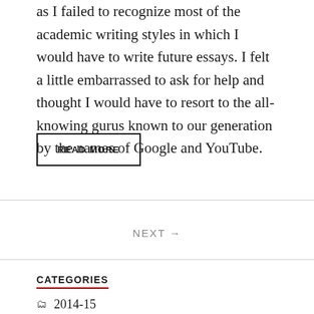as I failed to recognize most of the academic writing styles in which I would have to write future essays. I felt a little embarrassed to ask for help and thought I would have to resort to the all-knowing gurus known to our generation by the names of Google and YouTube.
READ MORE
NEXT →
CATEGORIES
2014-15